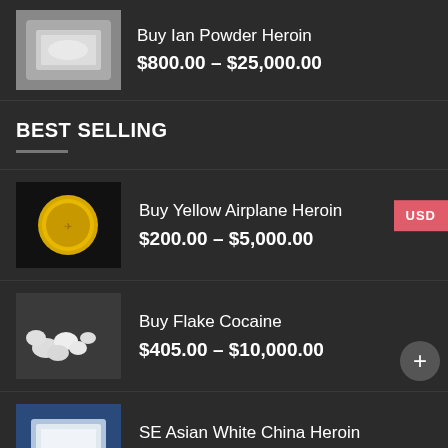[Figure (photo): Product thumbnail for Ian Powder Heroin - white powder in bag]
Buy Ian Powder Heroin
$800.00 – $25,000.00
BEST SELLING
[Figure (photo): Yellow coin-shaped heroin tablet on black background]
Buy Yellow Airplane Heroin
$200.00 – $5,000.00
[Figure (photo): White flake cocaine rocks on dark background]
Buy Flake Cocaine
$405.00 – $10,000.00
[Figure (photo): White powder heroin packet on blue background]
SE Asian White China Heroin
$500.00 – $5,000.00
[Figure (photo): WhatsApp logo green icon with phone symbol]
Buy Peruvian Cocaine Online
$350.00 – $9,500.00